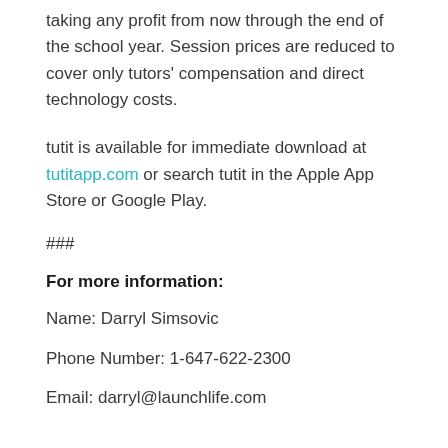taking any profit from now through the end of the school year. Session prices are reduced to cover only tutors' compensation and direct technology costs.
tutit is available for immediate download at tutitapp.com or search tutit in the Apple App Store or Google Play.
###
For more information:
Name: Darryl Simsovic
Phone Number: 1-647-622-2300
Email: darryl@launchlife.com